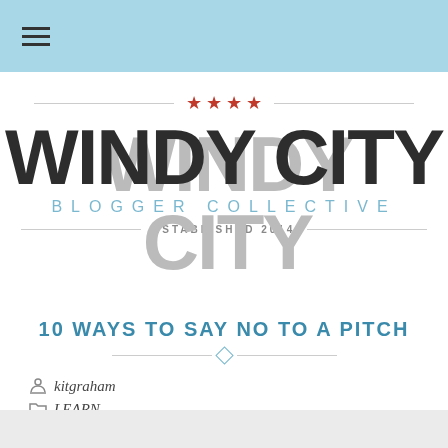[Figure (logo): Windy City Blogger Collective logo with four red stars, large bold text WINDY CITY, subtitle BLOGGER COLLECTIVE in light blue, and ESTABLISHED 2014 with decorative lines]
10 WAYS TO SAY NO TO A PITCH
kitgraham
LEARN
0 Comments